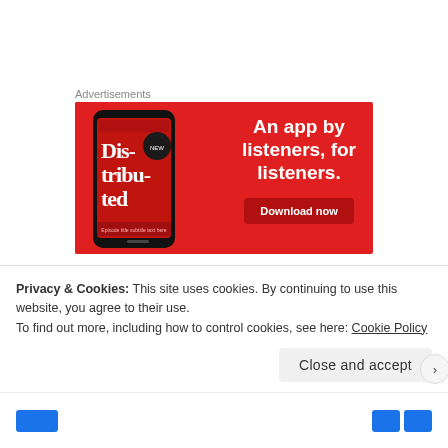Advertisements
[Figure (illustration): Advertisement banner with red background showing a smartphone displaying a podcast app with text 'Distributed' and headline 'An app by listeners, for listeners.' with a 'Download now' button.]
Again it's not explicitly stated in the requirements,
but it is in the title, that the values plotted need to be
Privacy & Cookies: This site uses cookies. By continuing to use this website, you agree to their use.
To find out more, including how to control cookies, see here: Cookie Policy
Close and accept